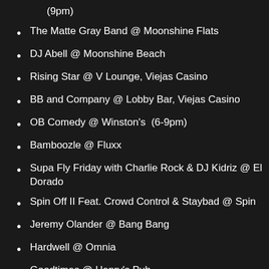(9pm)
The Matte Gray Band @ Moonshine Flats
DJ Abell @ Moonshine Beach
Rising Star @ V Lounge, Viejas Casino
BB and Company @ Lobby Bar, Viejas Casino
OB Comedy @ Winston's  (6-9pm)
Bamboozle @ Fluxx
Supa Fly Friday with Charlie Rock & DJ Kidriz @ El Dorado
Spin Off II Feat. Crowd Control & Staybad @ Spin
Jeremy Olander @ Bang Bang
Hardwell @ Omnia
Goodtimes @ Henry's Pub
Stereo @ Kava Lounge